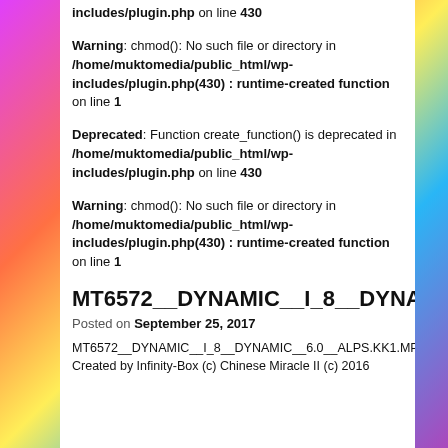includes/plugin.php on line 430
Warning: chmod(): No such file or directory in /home/muktomedia/public_html/wp-includes/plugin.php(430) : runtime-created function on line 1
Deprecated: Function create_function() is deprecated in /home/muktomedia/public_html/wp-includes/plugin.php on line 430
Warning: chmod(): No such file or directory in /home/muktomedia/public_html/wp-includes/plugin.php(430) : runtime-created function on line 1
MT6572__DYNAMIC__I_8__DYNAMIC__
Posted on September 25, 2017
MT6572__DYNAMIC__I_8__DYNAMIC__6.0__ALPS.KK1.MP7.V1
Created by Infinity-Box (c) Chinese Miracle II (c) 2016